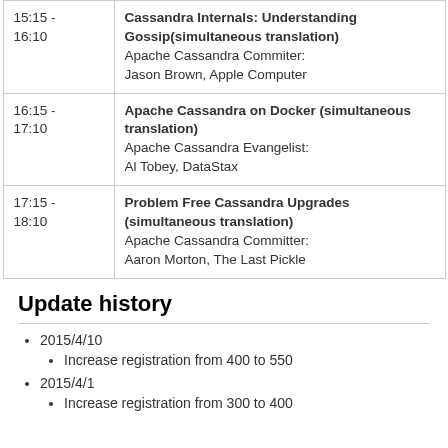| Time | Session |
| --- | --- |
| 15:15 - 16:10 | Cassandra Internals: Understanding Gossip(simultaneous translation)
Apache Cassandra Commiter:
Jason Brown, Apple Computer |
| 16:15 - 17:10 | Apache Cassandra on Docker (simultaneous translation)
Apache Cassandra Evangelist:
Al Tobey, DataStax |
| 17:15 - 18:10 | Problem Free Cassandra Upgrades (simultaneous translation)
Apache Cassandra Committer:
Aaron Morton, The Last Pickle |
Update history
2015/4/10
Increase registration from 400 to 550
2015/4/1
Increase registration from 300 to 400